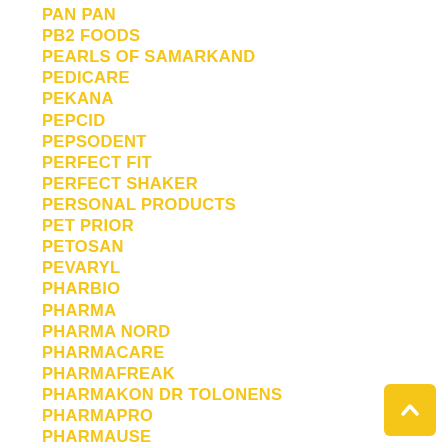PAN PAN
PB2 FOODS
PEARLS OF SAMARKAND
PEDICARE
PEKANA
PEPCID
PEPSODENT
PERFECT FIT
PERFECT SHAKER
PERSONAL PRODUCTS
PET PRIOR
PETOSAN
PEVARYL
PHARBIO
PHARMA
PHARMA NORD
PHARMACARE
PHARMAFREAK
PHARMAKON DR TOLONENS
PHARMAPRO
PHARMAUSE
PHARYSOL
PHILIP B